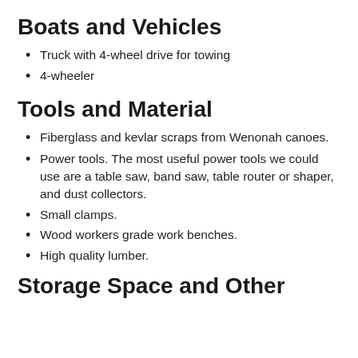Boats and Vehicles
Truck with 4-wheel drive for towing
4-wheeler
Tools and Material
Fiberglass and kevlar scraps from Wenonah canoes.
Power tools. The most useful power tools we could use are a table saw, band saw, table router or shaper, and dust collectors.
Small clamps.
Wood workers grade work benches.
High quality lumber.
Storage Space and Other